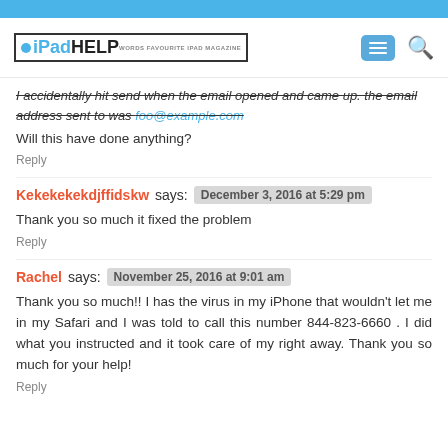iPadHELP
I accidentally hit send when the email opened and came up. the email address sent to was foo@example.com
Will this have done anything?
Reply
Kekekekekdjffidskw says: December 3, 2016 at 5:29 pm
Thank you so much it fixed the problem
Reply
Rachel says: November 25, 2016 at 9:01 am
Thank you so much!! I has the virus in my iPhone that wouldn't let me in my Safari and I was told to call this number 844-823-6660 . I did what you instructed and it took care of my right away. Thank you so much for your help!
Reply